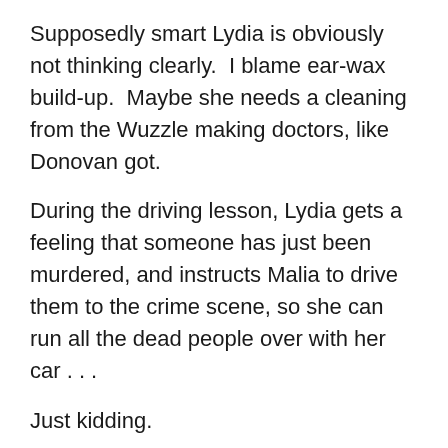Supposedly smart Lydia is obviously not thinking clearly.  I blame ear-wax build-up.  Maybe she needs a cleaning from the Wuzzle making doctors, like Donovan got.
During the driving lesson, Lydia gets a feeling that someone has just been murdered, and instructs Malia to drive them to the crime scene, so she can run all the dead people over with her car . . .
Just kidding.
This is when our trio of ladies come upon dead Tracey’s dad.  Ruh-roh!
Up above the scene, Creepy Theo is watching the scene, and looking creepy, while a blinking neon sign over his head saying “I’m the Bad Guy,” follows him wherever he goes . . .